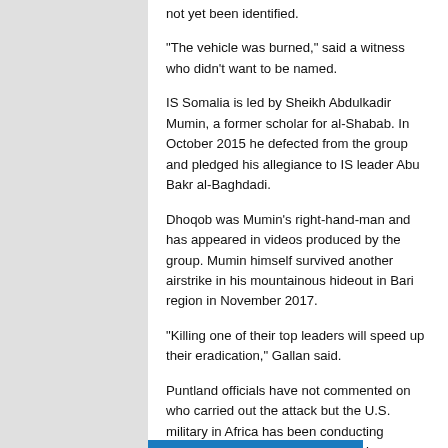not yet been identified.
“The vehicle was burned,” said a witness who didn’t want to be named.
IS Somalia is led by Sheikh Abdulkadir Mumin, a former scholar for al-Shabab. In October 2015 he defected from the group and pledged his allegiance to IS leader Abu Bakr al-Baghdadi.
Dhoqob was Mumin’s right-hand-man and has appeared in videos produced by the group. Mumin himself survived another airstrike in his mountainous hideout in Bari region in November 2017.
“Killing one of their top leaders will speed up their eradication,” Gallan said.
Puntland officials have not commented on who carried out the attack but the U.S. military in Africa has been conducting relentless strikes against militants in Somalia. This year alone, U.S. has carried out more than 30 airstrikes, all of them against al-Shabab.